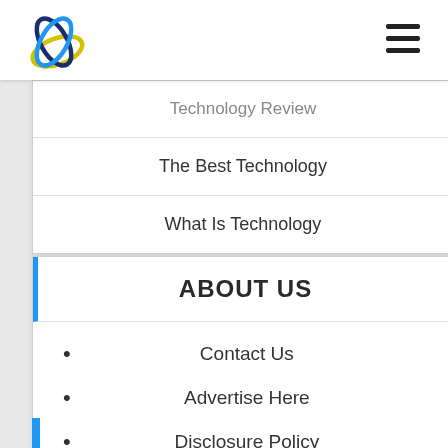[Figure (logo): Circular atom-like logo with overlapping rings in blue, yellow, and dark blue]
Technology Review
The Best Technology
What Is Technology
ABOUT US
Contact Us
Advertise Here
Disclosure Policy
Sitemap